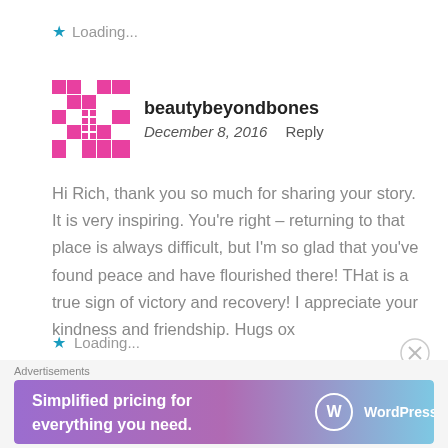Loading...
beautybeyondbones
December 8, 2016   Reply
Hi Rich, thank you so much for sharing your story. It is very inspiring. You’re right – returning to that place is always difficult, but I’m so glad that you’ve found peace and have flourished there! THat is a true sign of victory and recovery! I appreciate your kindness and friendship. Hugs ox
Loading...
Advertisements
[Figure (infographic): WordPress.com advertisement banner: 'Simplified pricing for everything you need.' with WordPress logo on gradient pink-purple background]